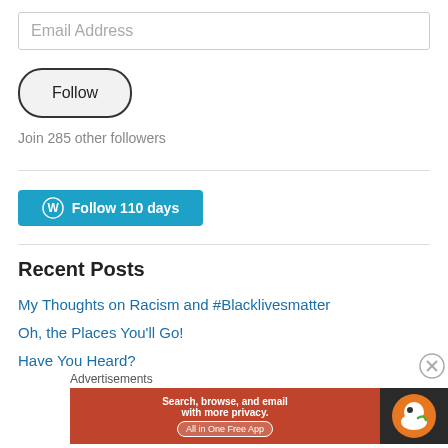Email Address
[Figure (other): Follow button - oval shaped button with text Follow]
Join 285 other followers
[Figure (other): WordPress Follow 110 days button - teal/blue background with WordPress logo and white text]
Recent Posts
My Thoughts on Racism and #Blacklivesmatter
Oh, the Places You'll Go!
Have You Heard?
Advertisements
[Figure (other): DuckDuckGo advertisement banner: Search, browse, and email with more privacy. All in One Free App]